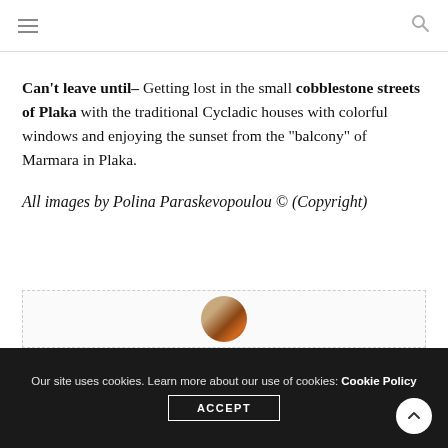navigation menu and search icon
Can't leave until– Getting lost in the small cobblestone streets of Plaka with the traditional Cycladic houses with colorful windows and enjoying the sunset from the “balcony” of Marmara in Plaka.
All images by Polina Paraskevopoulou © (Copyright)
[Figure (photo): Author avatar photo in a circular crop, partially visible at the bottom of the page]
Our site uses cookies. Learn more about our use of cookies: Cookie Policy ACCEPT